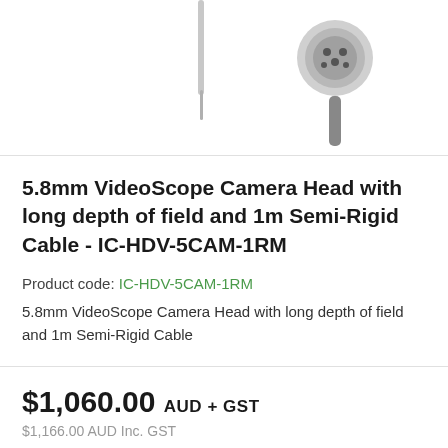[Figure (photo): Product image showing two cable ends/connectors of the 5.8mm VideoScope Camera Head: a thin probe tip on the left and a circular multi-pin connector on the right, on white background.]
5.8mm VideoScope Camera Head with long depth of field and 1m Semi-Rigid Cable - IC-HDV-5CAM-1RM
Product code: IC-HDV-5CAM-1RM
5.8mm VideoScope Camera Head with long depth of field and 1m Semi-Rigid Cable
$1,060.00 AUD + GST
$1,166.00 AUD Inc. GST
Backorder Now  this item will leave store in